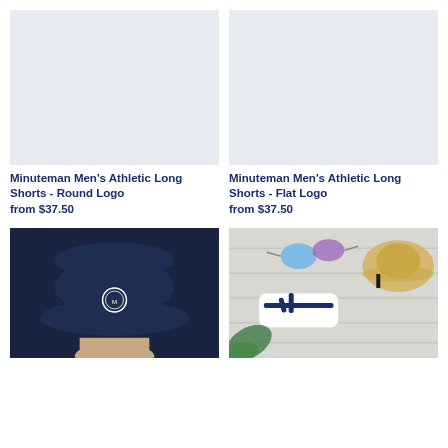[Figure (photo): Light gray placeholder image for Minuteman Men's Athletic Long Shorts - Round Logo]
Minuteman Men's Athletic Long Shorts - Round Logo
from $37.50
[Figure (photo): Light gray placeholder image for Minuteman Men's Athletic Long Shorts - Flat Logo]
Minuteman Men's Athletic Long Shorts - Flat Logo
from $37.50
[Figure (photo): Navy bucket hat with circular Minuteman logo, worn by person]
[Figure (photo): Flat lay of sunglasses, straw hat, flip flops with Minuteman branding on white wooden background]